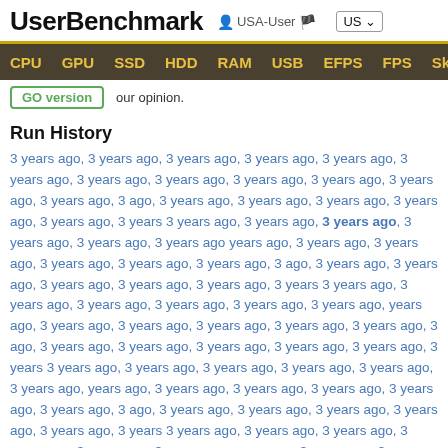UserBenchmark  USA-User  US
CPU  GPU  SSD  HDD  RAM  USB  EFPS  FPS  Sk
our opinion.
Run History
3 years ago, 3 years ago, 3 years ago, 3 years ago, 3 years ago, 3 years ago, 3 years ago, 3 years ago, 3 years ago, 3 years ago, 3 years ago, 3 years ago, 3 years ago, 3 years ago, 3 years ago, 3 years ago, 3 years ago, 3 years ago, 3 years ago, 3 years ago, 3 years ago, 3 years ago, 3 years ago, 3 years ago, 3 years ago, 3 years ago, 3 years ago, 3 years ago, 3 years ago, 3 years ago, 3 years ago, 3 years ago, 3 years ago, 3 years ago, 3 years ago, 3 years ago, 3 years ago, 3 years ago, 3 years ago, 3 years ago, 3 years ago, 3 years ago, 3 years ago, 3 years ago, 3 years ago, 3 years ago, 3 years ago, 3 years ago, 3 years ago, 3 years ago, 3 years ago, 3 years ago, 3 years ago, 3 years ago, 3 years ago, 3 years ago, 3 years ago